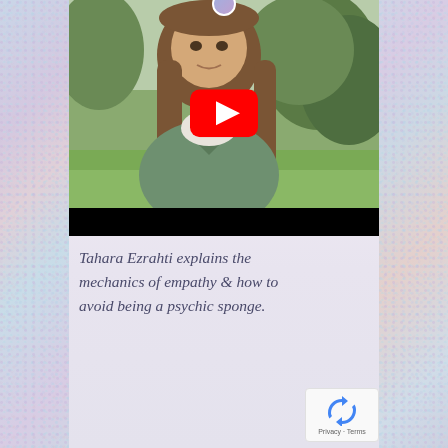[Figure (screenshot): YouTube video thumbnail showing a woman with long brown hair wearing a green jacket, standing outdoors in a park with trees in background. A large red YouTube play button is overlaid in the center of the image. Below the main image is a black letterbox bar.]
Tahara Ezrahti explains the mechanics of empathy & how to avoid being a psychic sponge.